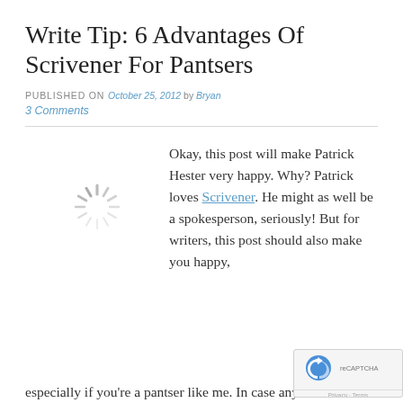Write Tip: 6 Advantages Of Scrivener For Pantsers
PUBLISHED ON October 25, 2012 by Bryan
3 Comments
[Figure (other): Loading spinner icon (circular dashed/spoked pattern in gray)]
Okay, this post will make Patrick Hester very happy. Why? Patrick loves Scrivener. He might as well be a spokesperson, seriously! But for writers, this post should also make you happy, especially if you're a pantser like me. In case anyone